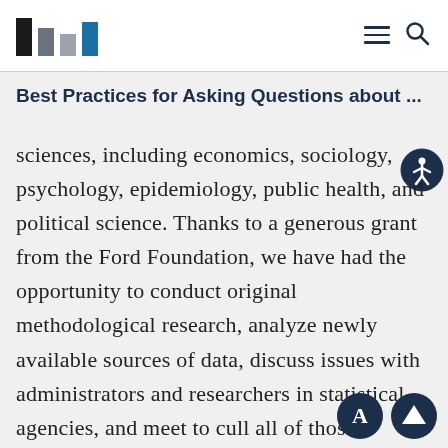[Figure (logo): Urban Institute logo — four vertical bars in black, gray, and blue]
Best Practices for Asking Questions about ...
sciences, including economics, sociology, psychology, epidemiology, public health, and political science. Thanks to a generous grant from the Ford Foundation, we have had the opportunity to conduct original methodological research, analyze newly available sources of data, discuss issues with administrators and researchers in statistical agencies, and meet to cull all of those